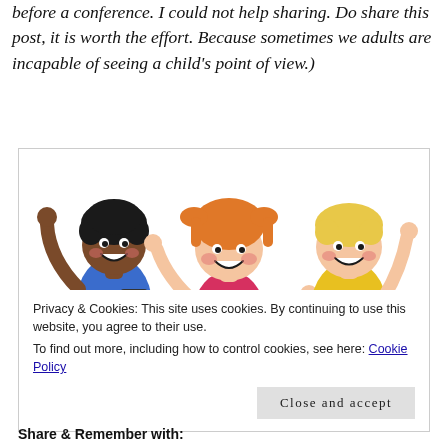before a conference. I could not help sharing. Do share this post, it is worth the effort. Because sometimes we adults are incapable of seeing a child's point of view.)
[Figure (illustration): Cartoon illustration of three happy children with backpacks jumping and waving — a dark-skinned boy in blue shirt on left, a red-haired girl in pink top and brown skirt in center, and a blonde boy in yellow shirt on right.]
Privacy & Cookies: This site uses cookies. By continuing to use this website, you agree to their use.
To find out more, including how to control cookies, see here: Cookie Policy
Close and accept
Share & Remember with: